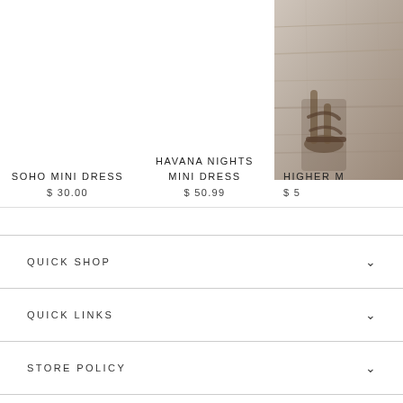SOHO MINI DRESS
$ 30.00
HAVANA NIGHTS MINI DRESS
$ 50.99
[Figure (photo): Partial product photo showing woman's feet and lower legs with sandals on a wooden floor background, cropped at right edge]
HIGHER M
$ 5
QUICK SHOP
QUICK LINKS
STORE POLICY
ACCOUNT INFO